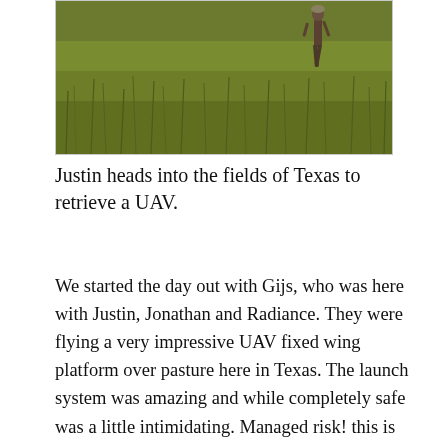[Figure (photo): A person walking through tall green grass fields in Texas, photographed from behind. The landscape is open pasture with dense green vegetation.]
Justin heads into the fields of Texas to retrieve a UAV.
We started the day out with Gijs, who was here with Justin, Jonathan and Radiance. They were flying a very impressive UAV fixed wing platform over pasture here in Texas. The launch system was amazing and while completely safe was a little intimidating. Managed risk! this is what the best people do. A bungee cord rapidly accelerates the UAV to get lift so the rotor can take over thrust once clear of the launch platform (a table… your tax dollars being spent very wisely!). The platform then